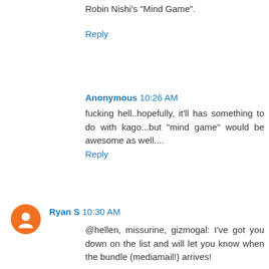Robin Nishi's "Mind Game".
Reply
Anonymous 10:26 AM
fucking hell..hopefully, it'll has something to do with kago...but "mind game" would be awesome as well....
Reply
Ryan S 10:30 AM
@hellen, missurine, gizmogal: I've got you down on the list and will let you know when the bundle (mediamail!) arrives!
@bryan: thanks dude, glad to still see you around these parts. I've got you down on the Vice list too :)
@zytroop & a tree: Oooh, I like the beginning of speculation :) I think we can give details on it later this month, but I have to check with the publisher on the official announcement timing. I can't say any more, except that it's